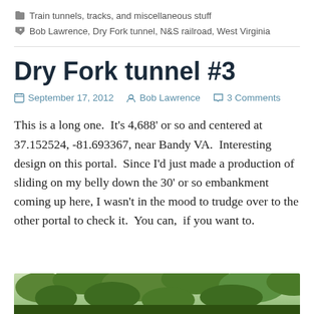Train tunnels, tracks, and miscellaneous stuff
Bob Lawrence, Dry Fork tunnel, N&S railroad, West Virginia
Dry Fork tunnel #3
September 17, 2012   Bob Lawrence   3 Comments
This is a long one.  It's 4,688' or so and centered at 37.152524, -81.693367, near Bandy VA.  Interesting design on this portal.  Since I'd just made a production of sliding on my belly down the 30' or so embankment coming up here, I wasn't in the mood to trudge over to the other portal to check it.  You can,  if you want to.
[Figure (photo): Bottom strip of a photo showing a green forested area near a tunnel portal]